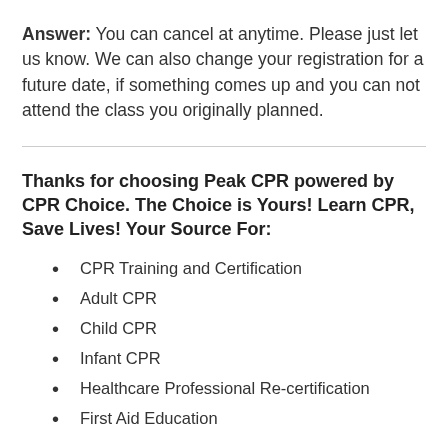Answer: You can cancel at anytime. Please just let us know. We can also change your registration for a future date, if something comes up and you can not attend the class you originally planned.
Thanks for choosing Peak CPR powered by CPR Choice. The Choice is Yours! Learn CPR, Save Lives! Your Source For:
CPR Training and Certification
Adult CPR
Child CPR
Infant CPR
Healthcare Professional Re-certification
First Aid Education